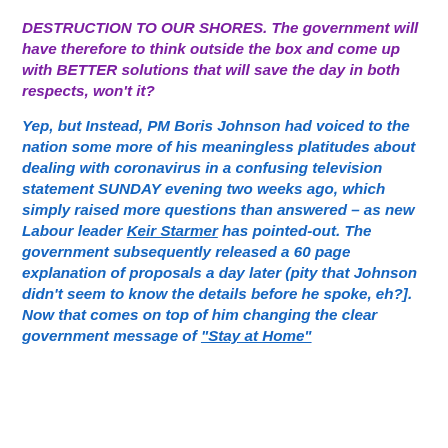DESTRUCTION TO OUR SHORES. The government will have therefore to think outside the box and come up with BETTER solutions that will save the day in both respects, won't it?
Yep, but Instead, PM Boris Johnson had voiced to the nation some more of his meaningless platitudes about dealing with coronavirus in a confusing television statement SUNDAY evening two weeks ago, which simply raised more questions than answered – as new Labour leader Keir Starmer has pointed-out. The government subsequently released a 60 page explanation of proposals a day later (pity that Johnson didn't seem to know the details before he spoke, eh?]. Now that comes on top of him changing the clear government message of "Stay at Home"